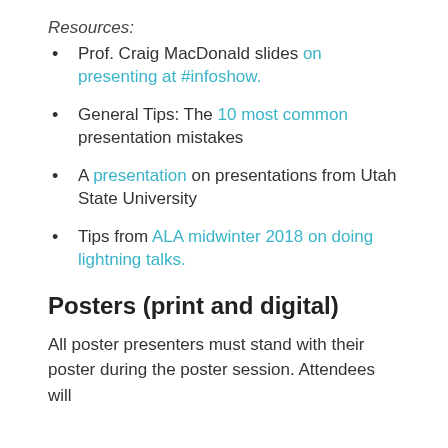Resources:
Prof. Craig MacDonald slides on presenting at #infoshow.
General Tips: The 10 most common presentation mistakes
A presentation on presentations from Utah State University
Tips from ALA midwinter 2018 on doing lightning talks.
Posters (print and digital)
All poster presenters must stand with their poster during the poster session. Attendees will